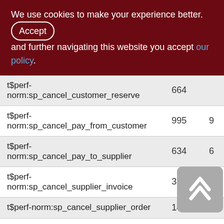We use cookies to make your experience better. By accepting and further navigating this website you accept our policy.
| Name | Col1 | Col2 |
| --- | --- | --- |
| t$perf-norm:sp_cancel_customer_reserve | 664 |  |
| t$perf-norm:sp_cancel_pay_from_customer | 995 | 9 |
| t$perf-norm:sp_cancel_pay_to_supplier | 634 | 6 |
| t$perf-norm:sp_cancel_supplier_invoice | 321 | 3 |
| t$perf-norm:sp_cancel_supplier_order | 146 | 1 |
| t$perf-norm:sp_cancel_write_off | 1416 | 14 |